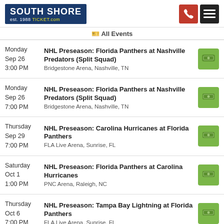South Shore est. 1988 TICKET.com
All Events
Monday Sep 26 3:00 PM | NHL Preseason: Florida Panthers at Nashville Predators (Split Squad) | Bridgestone Arena, Nashville, TN
Monday Sep 26 7:00 PM | NHL Preseason: Florida Panthers at Nashville Predators (Split Squad) | Bridgestone Arena, Nashville, TN
Thursday Sep 29 7:00 PM | NHL Preseason: Carolina Hurricanes at Florida Panthers | FLA Live Arena, Sunrise, FL
Saturday Oct 1 1:00 PM | NHL Preseason: Florida Panthers at Carolina Hurricanes | PNC Arena, Raleigh, NC
Thursday Oct 6 7:00 PM | NHL Preseason: Tampa Bay Lightning at Florida Panthers | FLA Live Arena, Sunrise, FL